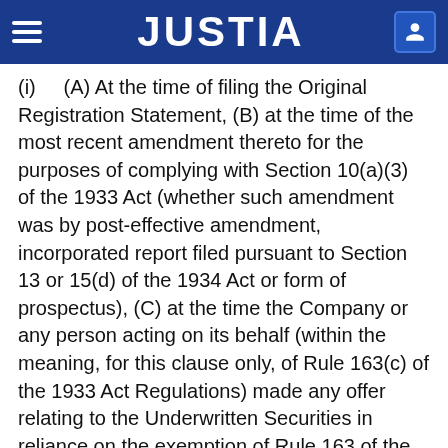JUSTIA
(i)    (A) At the time of filing the Original Registration Statement, (B) at the time of the most recent amendment thereto for the purposes of complying with Section 10(a)(3) of the 1933 Act (whether such amendment was by post-effective amendment, incorporated report filed pursuant to Section 13 or 15(d) of the 1934 Act or form of prospectus), (C) at the time the Company or any person acting on its behalf (within the meaning, for this clause only, of Rule 163(c) of the 1933 Act Regulations) made any offer relating to the Underwritten Securities in reliance on the exemption of Rule 163 of the 1933 Act Regulations (“Rule 163”) and (D) as of the date of the execution and delivery of this Agreement and the applicable Terms Agreement (the “Execution Date”), the Company was and is a “well-known seasoned issuer,” as defined in Rule 405 of the 1933 Act